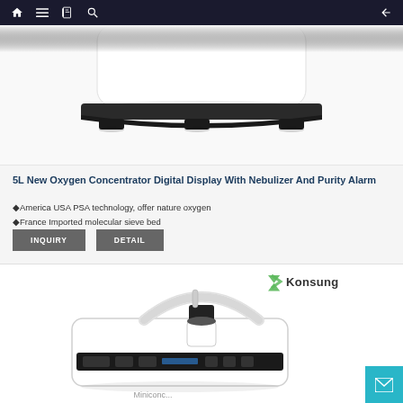Navigation bar with home, menu, notebook, search icons and back arrow
[Figure (photo): White oxygen concentrator machine with black base and wheels, cropped showing bottom portion of device]
5L New Oxygen Concentrator Digital Display With Nebulizer And Purity Alarm
♦America USA PSA technology, offer nature oxygen
♦France Imported molecular sieve bed
INQUIRY   DETAIL
[Figure (photo): Konsung branded portable oxygen concentrator device, white with handle and tubing attachment, shown from above on white background. Konsung green logo visible top right.]